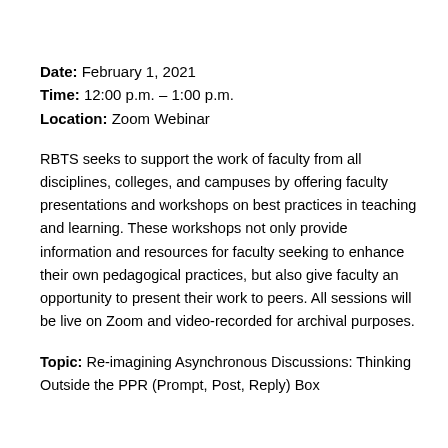Date: February 1, 2021
Time: 12:00 p.m. – 1:00 p.m.
Location: Zoom Webinar
RBTS seeks to support the work of faculty from all disciplines, colleges, and campuses by offering faculty presentations and workshops on best practices in teaching and learning. These workshops not only provide information and resources for faculty seeking to enhance their own pedagogical practices, but also give faculty an opportunity to present their work to peers. All sessions will be live on Zoom and video-recorded for archival purposes.
Topic: Re-imagining Asynchronous Discussions: Thinking Outside the PPR (Prompt, Post, Reply) Box